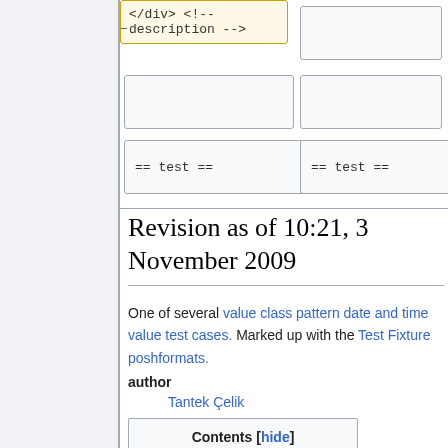[Figure (screenshot): Code box showing '</div> <!-- description -->' in yellow background, with two empty boxes and two boxes showing '== test ==' arranged in a 2x2 grid]
Revision as of 10:21, 3 November 2009
One of several value class pattern date and time value test cases. Marked up with the Test Fixture poshformats.
author
Tantek Çelik
| Contents [hide] |
| --- |
| 1  testing |
| 2  markup pattern |
| 3  test |
| 4  expected iCalendar output |